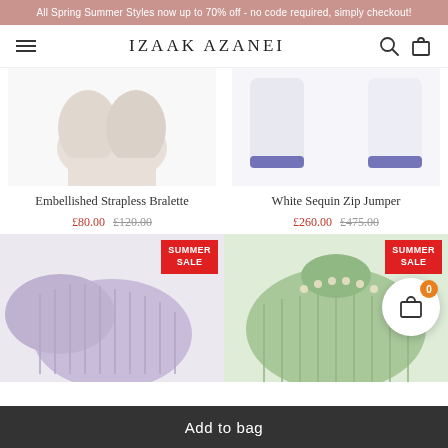All Spring Summer Styles now up to 70% off - no code required, simply checkout!
[Figure (logo): Izaak Azanei brand logo with hamburger menu, search icon, and bag icon]
[Figure (photo): Embellished Strapless Bralette product image, white/cream fabric, partially visible]
Embellished Strapless Bralette
£80.00  £120.00
[Figure (photo): White Sequin Zip Jumper product image, white knit with navy/blue trim at sleeve ends]
White Sequin Zip Jumper
£260.00  £475.00
[Figure (photo): Lavender/lilac one-shoulder knit jumper, SUMMER SALE badge]
[Figure (photo): Sage green cable-knit turtleneck jumper with pearl chain embellishment, SUMMER SALE badge]
Add to bag